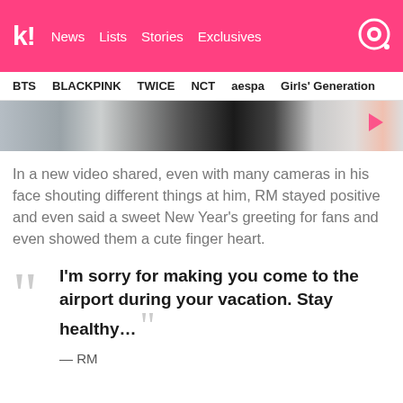k! News Lists Stories Exclusives
BTS  BLACKPINK  TWICE  NCT  aespa  Girls' Generation
[Figure (photo): Partial view of a video/photo showing a person at an airport, partially visible with cameras and people around]
In a new video shared, even with many cameras in his face shouting different things at him, RM stayed positive and even said a sweet New Year's greeting for fans and even showed them a cute finger heart.
“I’m sorry for making you come to the airport during your vacation. Stay healthy…” — RM